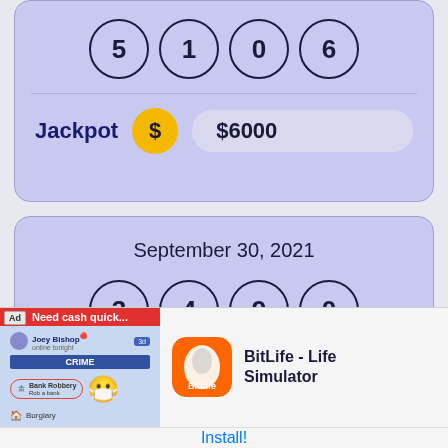[Figure (screenshot): Lottery app card showing numbers 5, 1, 0, 6 in circles, with Jackpot label and $6000 amount]
[Figure (screenshot): Lottery app card showing date September 30, 2021 and numbers 3, 4, 9, 0 in circles]
[Figure (screenshot): BitLife - Life Simulator advertisement banner with Install! button]